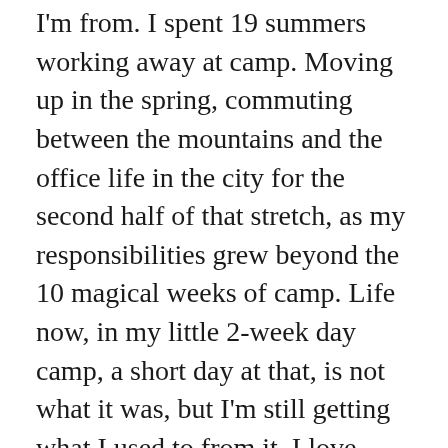I'm from. I spent 19 summers working away at camp. Moving up in the spring, commuting between the mountains and the office life in the city for the second half of that stretch, as my responsibilities grew beyond the 10 magical weeks of camp. Life now, in my little 2-week day camp, a short day at that, is not what it was, but I'm still getting what I used to from it. I love camp. I really do. What is watered down here is still meaningful and an opportunity that I'm delighted I have dived into. It's giving me camp and I can't tell you how great that is.
My wife will tell you, and she'd be right, that I'm really stressed by the situation. I'm a pretty laid back dude, but in the weeks leading up to camp I got tension headaches, can't sleep and